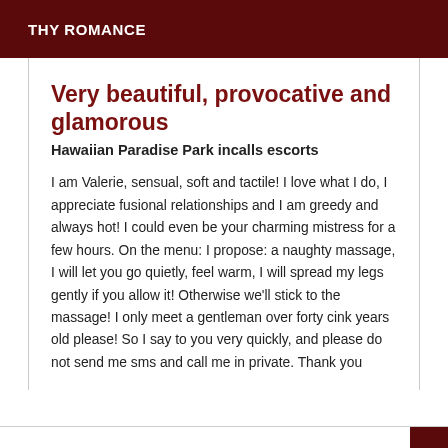THY ROMANCE
Very beautiful, provocative and glamorous
Hawaiian Paradise Park incalls escorts
I am Valerie, sensual, soft and tactile! I love what I do, I appreciate fusional relationships and I am greedy and always hot! I could even be your charming mistress for a few hours. On the menu: I propose: a naughty massage, I will let you go quietly, feel warm, I will spread my legs gently if you allow it! Otherwise we'll stick to the massage! I only meet a gentleman over forty cink years old please! So I say to you very quickly, and please do not send me sms and call me in private. Thank you